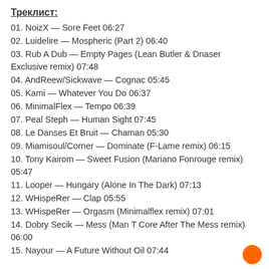Треклист:
01. NoizX — Sore Feet 06:27
02. Luidelire — Mospheric (Part 2) 06:40
03. Rub A Dub — Empty Pages (Lean Butler & Dnaser Exclusive remix) 07:48
04. AndReew/Sickwave — Cognac 05:45
05. Kami — Whatever You Do 06:37
06. MinimalFlex — Tempo 06:39
07. Peal Steph — Human Sight 07:45
08. Le Danses Et Bruit — Chaman 05:30
09. Miamisoul/Corner — Dominate (F-Lame remix) 06:15
10. Tony Kairom — Sweet Fusion (Mariano Fonrouge remix) 05:47
11. Looper — Hungary (Alone In The Dark) 07:13
12. WHispeRer — Clap 05:55
13. WHispeRer — Orgasm (Minimalflex remix) 07:01
14. Dobry Secik — Mess (Man T Core After The Mess remix) 06:00
15. Nayour — A Future Without Oil 07:44